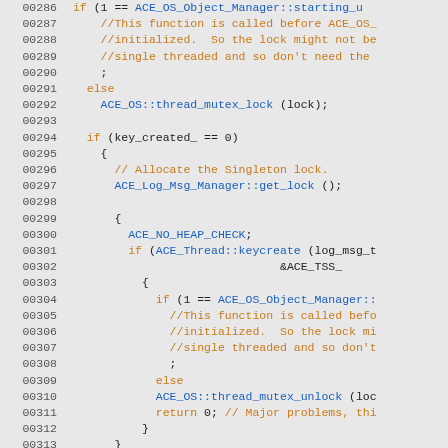[Figure (screenshot): Source code listing in C++ showing lines 00286 to 00315, with line numbers in gray, keywords in orange, function names in blue, and comments in orange on a light gray background.]